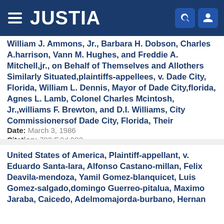JUSTIA
William J. Ammons, Jr., Barbara H. Dobson, Charles A.harrison, Vann M. Hughes, and Freddie A. Mitchell,jr., on Behalf of Themselves and Allothers Similarly Situated,plaintiffs-appellees, v. Dade City, Florida, William L. Dennis, Mayor of Dade City,florida, Agnes L. Lamb, Colonel Charles Mcintosh, Jr.,williams F. Brewton, and D.I. Williams, City Commissionersof Dade City, Florida, Their Successors and Agents in Theirofficial Capacities, Defendants-appellants
Date: March 3, 1986
Citation: 783 F.2d 982
United States of America, Plaintiff-appellant, v. Eduardo Santa-lara, Alfonso Castano-millan, Felix Deavila-mendoza, Yamil Gomez-blanquicet, Luis Gomez-salgado,domingo Guerreo-pitalua, Maximo Jaraba, Caicedo, Adelmomajorda-burbano, Hernan